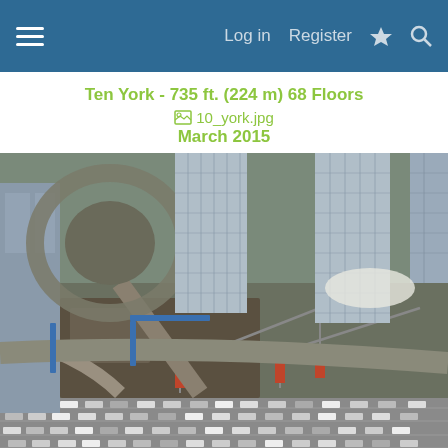Log in  Register
Ten York - 735 ft. (224 m) 68 Floors
10_york.jpg
March 2015
[Figure (photo): Aerial photograph taken from above showing a construction site in an urban area. Two tall glass skyscrapers are visible in the upper portion. A circular highway interchange is visible on the left. Construction cranes are visible at a large foundation dig site in the middle. A busy multi-lane highway with traffic is visible at the bottom. Taken March 2015, related to Ten York tower construction in Toronto.]